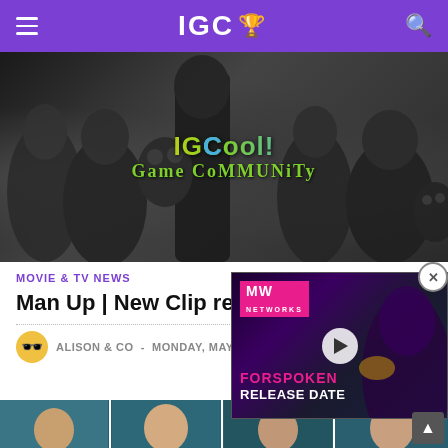IGC 🏆
[Figure (photo): Hero banner with video game characters in black and white, featuring the IGC Game Community logo in colorful text overlay]
MOVIE & TV NEWS
Man Up | New Clip relea…
ALISON & CO - MONDAY, MAY 11 2015
[Figure (screenshot): Video advertisement overlay for Forspoken Release Date, featuring MW Networks logo in pink and a dark fantasy background with a woman character]
[Figure (photo): Photo strip at bottom showing multiple photos of people, appears to be cast members in multiple frames]